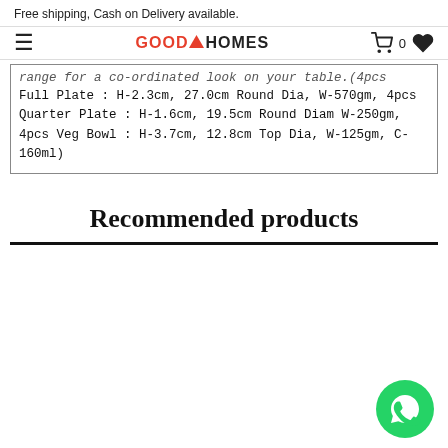Free shipping, Cash on Delivery available.
[Figure (logo): GoodHomes logo with red house icon and navigation bar with hamburger menu, cart icon showing 0, and heart icon]
range for a co-ordinated look on your table.(4pcs Full Plate : H-2.3cm, 27.0cm Round Dia, W-570gm, 4pcs Quarter Plate : H-1.6cm, 19.5cm Round Diam W-250gm, 4pcs Veg Bowl : H-3.7cm, 12.8cm Top Dia, W-125gm, C-160ml)
Recommended products
[Figure (illustration): WhatsApp green circular button with white phone handset icon]